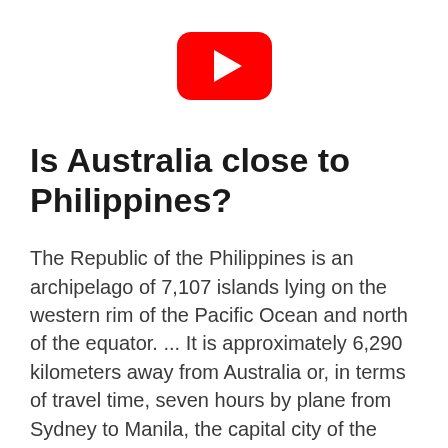[Figure (logo): YouTube logo icon — red rounded rectangle with white play triangle]
Is Australia close to Philippines?
The Republic of the Philippines is an archipelago of 7,107 islands lying on the western rim of the Pacific Ocean and north of the equator. ... It is approximately 6,290 kilometers away from Australia or, in terms of travel time, seven hours by plane from Sydney to Manila, the capital city of the Philippines.